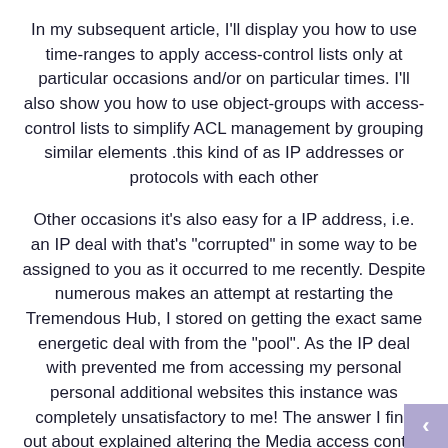In my subsequent article, I'll display you how to use time-ranges to apply access-control lists only at particular occasions and/or on particular times. I'll also show you how to use object-groups with access-control lists to simplify ACL management by grouping similar elements .this kind of as IP addresses or protocols with each other
Other occasions it's also easy for a IP address, i.e. an IP deal with that's "corrupted" in some way to be assigned to you as it occurred to me recently. Despite numerous makes an attempt at restarting the Tremendous Hub, I stored on getting the exact same energetic deal with from the "pool". As the IP deal with prevented me from accessing my personal personal additional websites this instance was completely unsatisfactory to me! The answer I find out about explained altering the Media access control (MAC) deal with of the receiving ethernet card, which within my situation was that of the Super